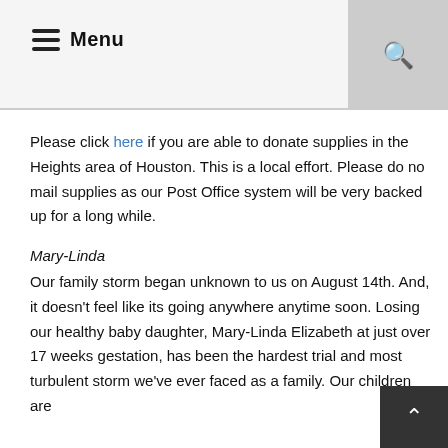Menu
Please click here if you are able to donate supplies in the Heights area of Houston. This is a local effort. Please do no mail supplies as our Post Office system will be very backed up for a long while.
Mary-Linda
Our family storm began unknown to us on August 14th. And, it doesn't feel like its going anywhere anytime soon. Losing our healthy baby daughter, Mary-Linda Elizabeth at just over 17 weeks gestation, has been the hardest trial and most turbulent storm we've ever faced as a family. Our children are